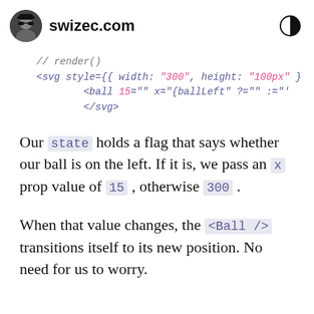swizec.com
[Figure (screenshot): Code snippet showing render() method with JSX: // render() <svg style={{ width: "300", height: "100px" } <ball 15="" x="{ballLeft" ?="" :="' </svg>]
Our state holds a flag that says whether our ball is on the left. If it is, we pass an x prop value of 15 , otherwise 300 .
When that value changes, the <Ball /> transitions itself to its new position. No need for us to worry.